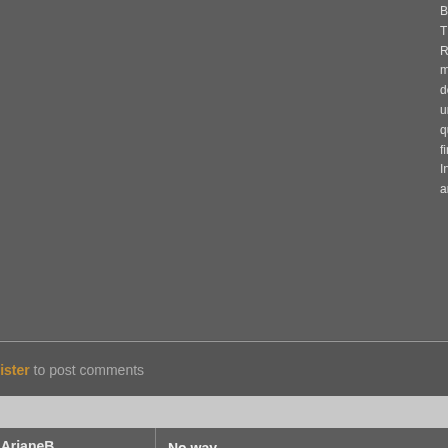Big Bang... This is a... Relativity... mathematics... down. Y... universe... quantum... find the u... In fact, th... and exis...
Login or register to post comments
#25
ArianeB
[Figure (photo): Profile avatar photo of ArianeB - a realistic 3D rendered portrait of a woman with dark hair and olive skin, close-up face shot]
Posts: 23
Joined: 2007-09-24
Offline
No way
No way t... person, j...
This one
Quote:
There is
understa...